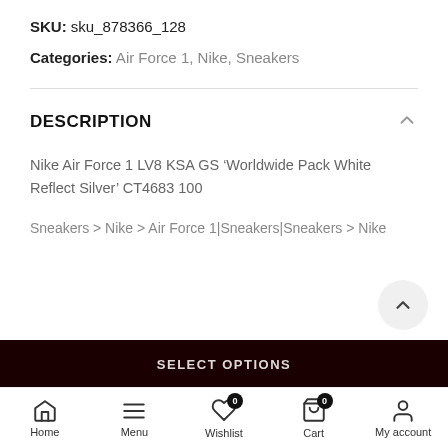SKU: sku_878366_128
Categories: Air Force 1, Nike, Sneakers
DESCRIPTION
Nike Air Force 1 LV8 KSA GS ‘Worldwide Pack White Reflect Silver’ CT4683 100
Sneakers > Nike > Air Force 1|Sneakers|Sneakers > Nike
SELECT OPTIONS
Home   Menu   Wishlist 0   Cart 0   My account